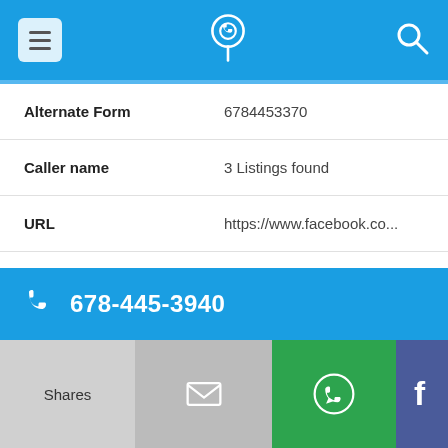Navigation bar with menu, phone/location icon, and search icon
| Field | Value |
| --- | --- |
| Alternate Form | 6784453370 |
| Caller name | 3 Listings found |
| URL | https://www.facebook.co... |
| Last User Search | No searches yet |
| Comments |  |
678-445-3940
Shares | Email | WhatsApp | Facebook